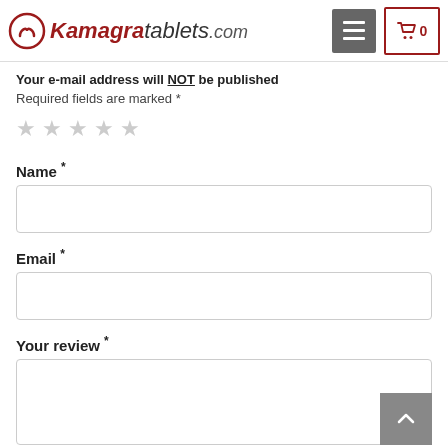Kamagratablets.com
Your e-mail address will NOT be published
Required fields are marked *
[Figure (other): Five empty star rating icons (all grey/unselected)]
Name *
[Figure (other): Empty text input field for Name]
Email *
[Figure (other): Empty text input field for Email]
Your review *
[Figure (other): Empty textarea input for review]